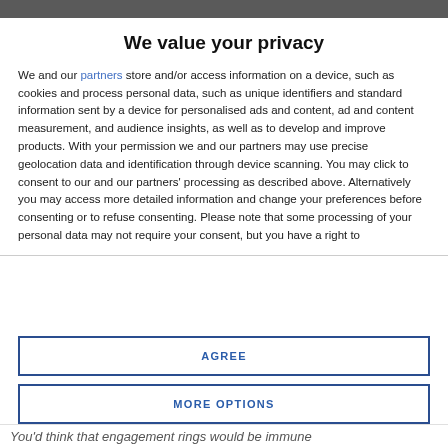We value your privacy
We and our partners store and/or access information on a device, such as cookies and process personal data, such as unique identifiers and standard information sent by a device for personalised ads and content, ad and content measurement, and audience insights, as well as to develop and improve products. With your permission we and our partners may use precise geolocation data and identification through device scanning. You may click to consent to our and our partners' processing as described above. Alternatively you may access more detailed information and change your preferences before consenting or to refuse consenting. Please note that some processing of your personal data may not require your consent, but you have a right to
AGREE
MORE OPTIONS
You'd think that engagement rings would be immune